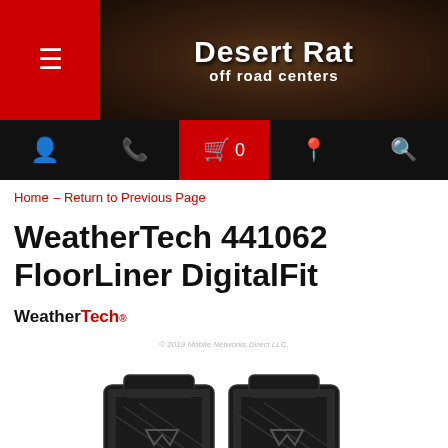[Figure (screenshot): Desert Rat Off Road Centers website header with red hamburger menu button on left and logo text 'Desert Rat off road centers' on dark wood-textured background]
Home – Return to Previous Page
WeatherTech 441062 FloorLiner DigitalFit
[Figure (logo): WeatherTech brand logo with 'Weather' in black and 'Tech' in red, bold sans-serif font]
© 2019 Mobile Networks Direct LLC.
[Figure (photo): Two black WeatherTech DigitalFit FloorLiner car floor mats side by side, molded rubber with raised edges and WeatherTech logo]